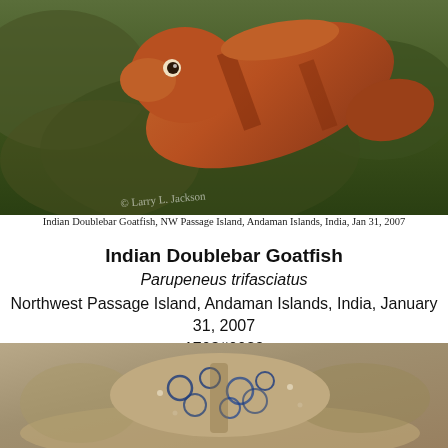[Figure (photo): Underwater photo of an Indian Doublebar Goatfish swimming near coral reef, orange-red fish against green and brown coral background. Watermark: © Larry L. Jackson]
Indian Doublebar Goatfish, NW Passage Island, Andaman Islands, India, Jan 31, 2007
Indian Doublebar Goatfish
Parupeneus trifasciatus
Northwest Passage Island, Andaman Islands, India, January 31, 2007
1708#0039
Larry L. Jackson
[Figure (photo): Underwater close-up photo of a sea creature (possibly a sea cucumber or nudibranch) with intricate blue-ringed pattern on a sandy/rocky substrate]